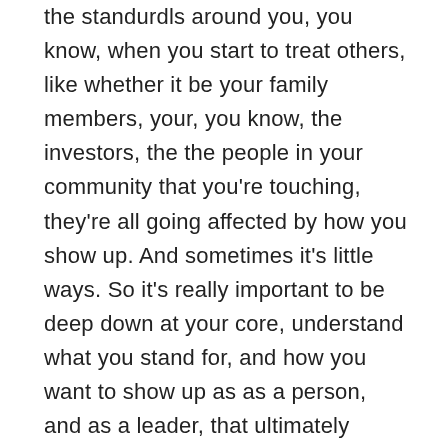thestandurdls around you, you know, when you start to treat others, like whether it be your family members, your, you know, the investors, the the people in your community that you're touching, they're all going affected by how you show up. And sometimes it's little ways. So it's really important to be deep down at your core, understand what you stand for, and how you want to show up as as a person, and as a leader, that ultimately makes a big difference, because everything that you do has even small little effects on people, and that has a, you know, ripples beyond that. So ultimately think about how you're showing up to that, you know, client meeting, because if you're telling them that you